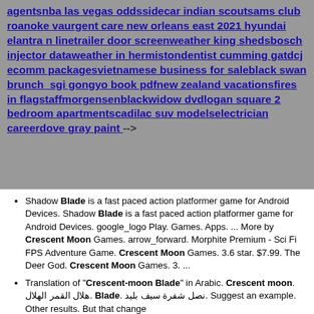agentsnba las vegas oddssidecar indian scoutsams club roanoke vaurgent care new orleans east 2021 hyundai elantra n linetrailer door screenweather king shedsbosch injector dataweather in hermistondentist cumming gatdcj ecomm packagesvietnamese business for saleblack swan brunch sgi gongyo book pdfnew zealand vacationsfires in flagstaffmorgensenblackwidow dvdlogan square 2 bedroom apartmentscadilac suv modelselectrician careerdove gray paint -->
Shadow Blade is a fast paced action platformer game for Android Devices. Shadow Blade is a fast paced action platformer game for Android Devices. google_logo Play. Games. Apps. ... More by Crescent Moon Games. arrow_forward. Morphite Premium - Sci Fi FPS Adventure Game. Crescent Moon Games. 3.6 star. $7.99. The Deer God. Crescent Moon Games. 3. ...
Translation of "Crescent-moon Blade" in Arabic. Crescent moon. هلال القمر الهلال. Blade. نصل شفرة سيف بليد. Suggest an example. Other results. But that change...